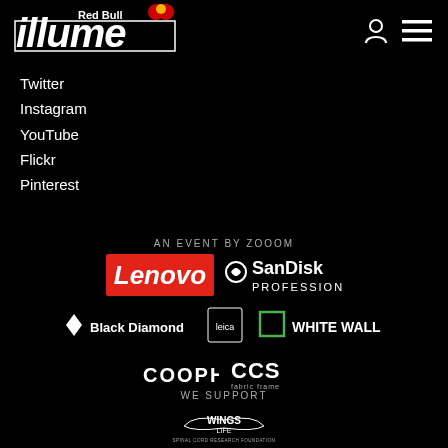[Figure (logo): Red Bull illume logo in white and red on black background]
Twitter
Instagram
YouTube
Flickr
Pinterest
AN EVENT BY ZOOOM
[Figure (logo): Lenovo logo (white text on red background)]
[Figure (logo): SanDisk Professional logo]
[Figure (logo): Black Diamond logo]
[Figure (logo): Leica logo]
[Figure (logo): WhiteWall logo]
[Figure (logo): COOPH logo]
[Figure (logo): CCS Fabric Frame logo]
WE SUPPORT
[Figure (logo): Wings for Life Spinal Cord Research Foundation logo]